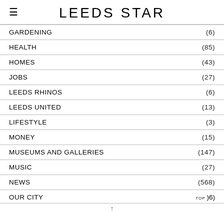LEEDS STAR
GARDENING (6)
HEALTH (85)
HOMES (43)
JOBS (27)
LEEDS RHINOS (6)
LEEDS UNITED (13)
LIFESTYLE (3)
MONEY (15)
MUSEUMS AND GALLERIES (147)
MUSIC (27)
NEWS (568)
OUR CITY (6)